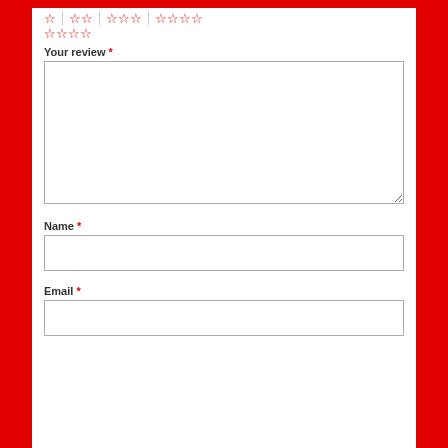[Figure (other): Star rating selector rows with red outline stars in groups of 1, 2, 3, 4 and a second row of 4 empty stars]
Your review *
[Figure (other): Large empty text area input box for review]
Name *
[Figure (other): Single line text input box for name]
Email *
[Figure (other): Single line text input box for email]